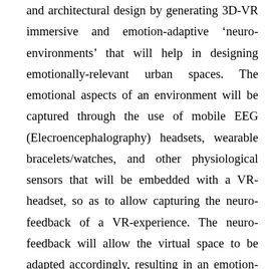and architectural design by generating 3D-VR immersive and emotion-adaptive 'neuro-environments' that will help in designing emotionally-relevant urban spaces. The emotional aspects of an environment will be captured through the use of mobile EEG (Elecroencephalography) headsets, wearable bracelets/watches, and other physiological sensors that will be embedded with a VR-headset, so as to allow capturing the neuro-feedback of a VR-experience. The neuro-feedback will allow the virtual space to be adapted accordingly, resulting in an emotion-adaptive space. The 'neuro-environments' will be used at two levels of granularity. At the first level, artists and creatives will experience the 'neuro-environments' with the intention to improve the emotional-relevance of the urban space through the neuro-feedback of individuals, that have very-well developed the perception of aesthetics in what refers